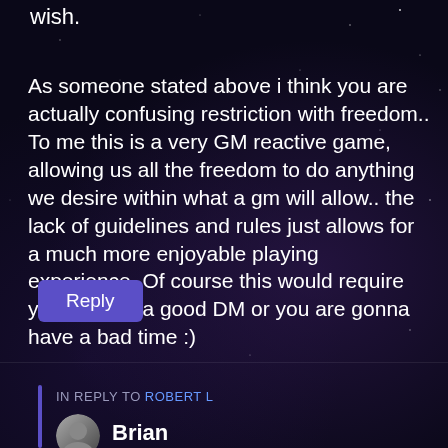wish.
As someone stated above i think you are actually confusing restriction with freedom.. To me this is a very GM reactive game, allowing us all the freedom to do anything we desire within what a gm will allow.. the lack of guidelines and rules just allows for a much more enjoyable playing experience. Of course this would require you to have a good DM or you are gonna have a bad time :)
Reply
IN REPLY TO ROBERT L
Brian